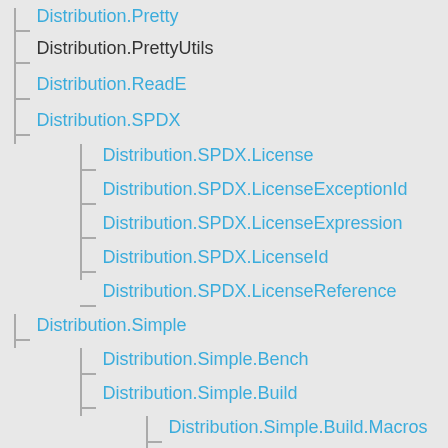Distribution.Pretty
Distribution.PrettyUtils
Distribution.ReadE
Distribution.SPDX
Distribution.SPDX.License
Distribution.SPDX.LicenseExceptionId
Distribution.SPDX.LicenseExpression
Distribution.SPDX.LicenseId
Distribution.SPDX.LicenseReference
Distribution.Simple
Distribution.Simple.Bench
Distribution.Simple.Build
Distribution.Simple.Build.Macros
Distribution.Simple.Build.PathsModu...
Distribution.Simple.BuildPaths
Distribution.Simple.BuildTarget
Distribution.Simple.BuildToolDepends
Distribution.Simple.CCompiler
Distribution.Simple.Command